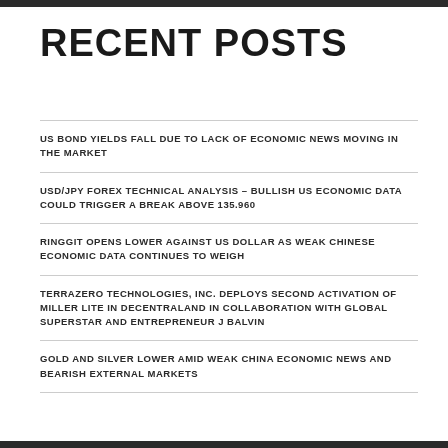RECENT POSTS
US BOND YIELDS FALL DUE TO LACK OF ECONOMIC NEWS MOVING IN THE MARKET
USD/JPY FOREX TECHNICAL ANALYSIS – BULLISH US ECONOMIC DATA COULD TRIGGER A BREAK ABOVE 135.960
RINGGIT OPENS LOWER AGAINST US DOLLAR AS WEAK CHINESE ECONOMIC DATA CONTINUES TO WEIGH
TERRAZERO TECHNOLOGIES, INC. DEPLOYS SECOND ACTIVATION OF MILLER LITE IN DECENTRALAND IN COLLABORATION WITH GLOBAL SUPERSTAR AND ENTREPRENEUR J BALVIN
GOLD AND SILVER LOWER AMID WEAK CHINA ECONOMIC NEWS AND BEARISH EXTERNAL MARKETS